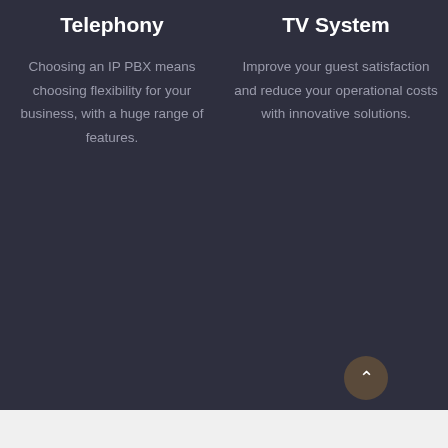Telephony
Choosing an IP PBX means choosing flexibility for your business, with a huge range of features.
TV System
Improve your guest satisfaction and reduce your operational costs with innovative solutions.